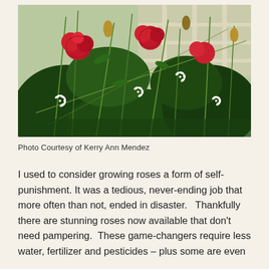[Figure (photo): Photograph of a garden with red roses and white small flowers on tall green stems, with a white fence or trellis visible in the background.]
Photo Courtesy of Kerry Ann Mendez
I used to consider growing roses a form of self-punishment. It was a tedious, never-ending job that more often than not, ended in disaster.   Thankfully there are stunning roses now available that don't need pampering.  These game-changers require less water, fertilizer and pesticides – plus some are even